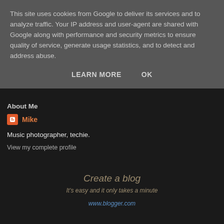This site uses cookies from Google to deliver its services and to analyze traffic. Your IP address and user-agent are shared with Google along with performance and security metrics to ensure quality of service, generate usage statistics, and to detect and address abuse.
LEARN MORE   OK
About Me
Mike
Music photographer, techie.
View my complete profile
Create a blog
It's easy and it only takes a minute
www.blogger.com